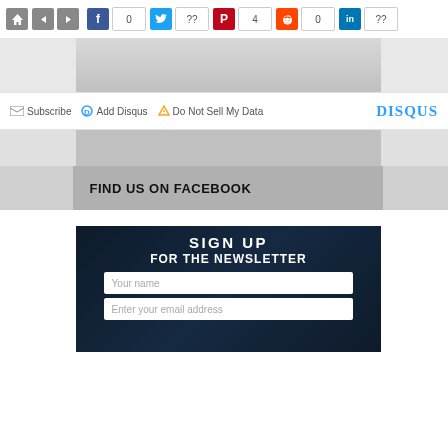[Figure (screenshot): Social sharing bar with home/nav buttons, Facebook (0), Twitter (??), Pinterest (4), Reddit (0), LinkedIn (??) share counts]
[Figure (photo): Gray background image banner (top portion)]
Subscribe  Add Disqus  Do Not Sell My Data  DISQUS
[Figure (photo): Gray background image banner (bottom portion)]
FIND US ON FACEBOOK
[Figure (screenshot): Newsletter signup section with dark background. Text: SIGN UP FOR THE NEWSLETTER. Form fields: Your name, Enter your email address]